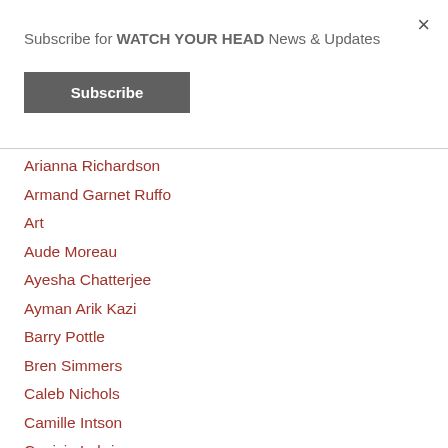×
Subscribe for WATCH YOUR HEAD News & Updates
Subscribe
Arianna Richardson
Armand Garnet Ruffo
Art
Aude Moreau
Ayesha Chatterjee
Ayman Arik Kazi
Barry Pottle
Bren Simmers
Caleb Nichols
Camille Intson
Canisia Lubrin
Carleigh Baker
Carrianne Leung
Cassandra Cervi